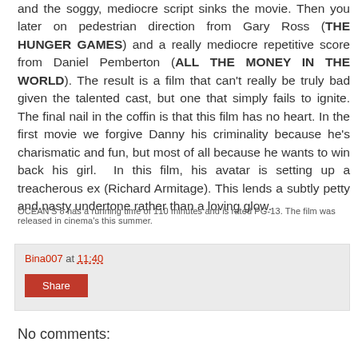and the soggy, mediocre script sinks the movie. Then you later on pedestrian direction from Gary Ross (THE HUNGER GAMES) and a really mediocre repetitive score from Daniel Pemberton (ALL THE MONEY IN THE WORLD). The result is a film that can't really be truly bad given the talented cast, but one that simply fails to ignite. The final nail in the coffin is that this film has no heart. In the first movie we forgive Danny his criminality because he's charismatic and fun, but most of all because he wants to win back his girl. In this film, his avatar is setting up a treacherous ex (Richard Armitage). This lends a subtly petty and nasty undertone rather than a loving glow.
OCEAN'S 8 has a running time of 110 minutes and is rated PG-13. The film was released in cinema's this summer.
Bina007 at 11:40
Share
No comments: